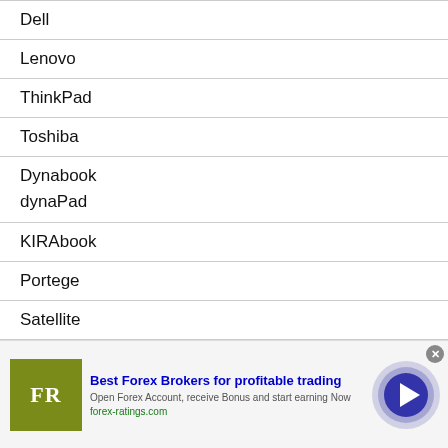Dell
Lenovo
ThinkPad
Toshiba
Dynabook
dynaPad
KIRAbook
Portege
Satellite
Tecra
Uncategorized
[Figure (screenshot): Advertisement banner for Forex Ratings showing 'Best Forex Brokers for profitable trading' with FR logo, olive green background, and blue arrow button]